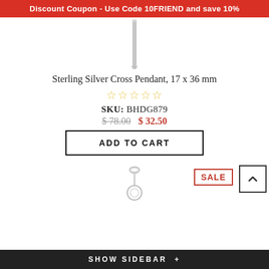Discount Coupon - Use Code 10FRIEND and save 10%
[Figure (photo): Sterling silver cross pendant product image, vertical orientation, silver metallic finish]
Sterling Silver Cross Pendant, 17 x 36 mm
★★★★★ (star rating, empty/outline stars)
SKU: BHDG879
$ 78.00  $ 32.50
ADD TO CART
[Figure (photo): Small silver jewelry piece (pendant/charm) shown at bottom of page]
SALE
SHOW SIDEBAR +